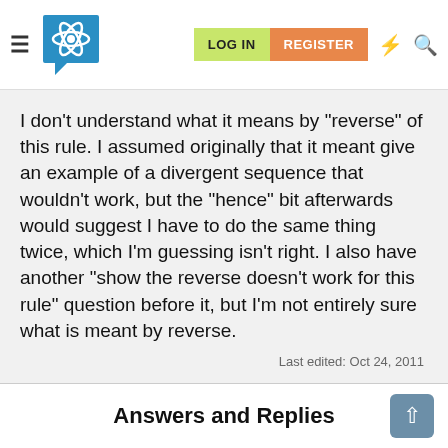LOG IN | REGISTER
I don't understand what it means by "reverse" of this rule. I assumed originally that it meant give an example of a divergent sequence that wouldn't work, but the "hence" bit afterwards would suggest I have to do the same thing twice, which I'm guessing isn't right. I also have another "show the reverse doesn't work for this rule" question before it, but I'm not entirely sure what is meant by reverse.
Last edited: Oct 24, 2011
Answers and Replies